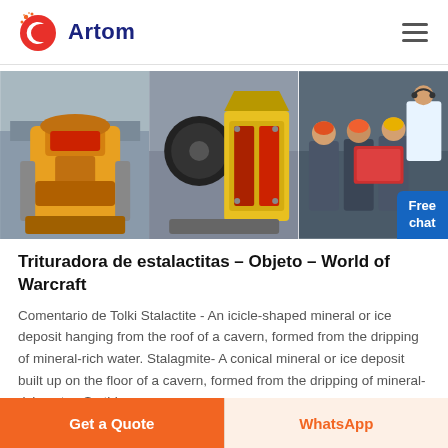[Figure (logo): Artom company logo — red circular 'C' icon with orange sparks, and bold navy text 'Artom']
[Figure (photo): Three-panel image strip: left shows a yellow cone crusher in factory, middle shows a jaw crusher machine in yellow and red, right shows workers in hard hats reviewing documents. A blue 'Free chat' badge overlays bottom-right corner.]
Trituradora de estalactitas – Objeto – World of Warcraft
Comentario de Tolki Stalactite - An icicle-shaped mineral or ice deposit hanging from the roof of a cavern, formed from the dripping of mineral-rich water. Stalagmite- A conical mineral or ice deposit built up on the floor of a cavern, formed from the dripping of mineral-rich water. So this
Get a Quote
WhatsApp